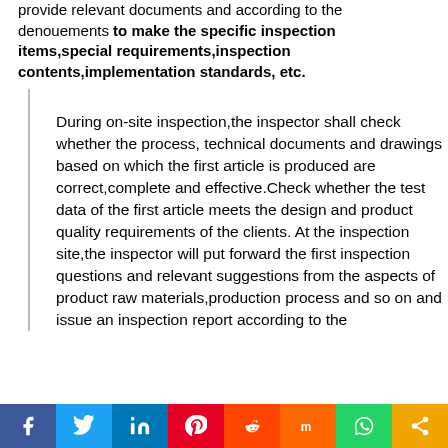provide relevant documents and according to the denouements to make the specific inspection items,special requirements,inspection contents,implementation standards, etc.
During on-site inspection,the inspector shall check whether the process, technical documents and drawings based on which the first article is produced are correct,complete and effective.Check whether the test data of the first article meets the design and product quality requirements of the clients. At the inspection site,the inspector will put forward the first inspection questions and relevant suggestions from the aspects of product raw materials,production process and so on and issue an inspection report according to the